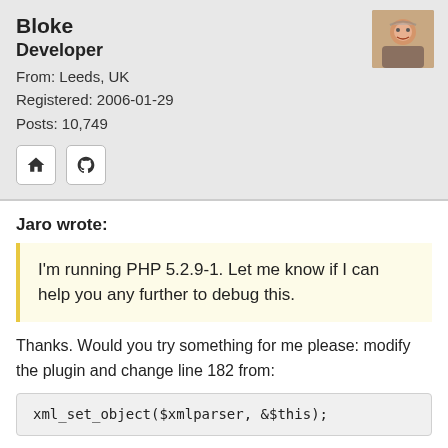Bloke
Developer
From: Leeds, UK
Registered: 2006-01-29
Posts: 10,749
[Figure (photo): User avatar photo of a person]
Jaro wrote:
I'm running PHP 5.2.9-1. Let me know if I can help you any further to debug this.
Thanks. Would you try something for me please: modify the plugin and change line 182 from:
xml_set_object($xmlparser, &$this);